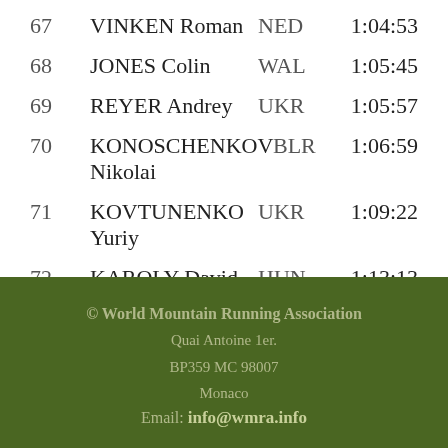| Rank | Name | Country | Time |
| --- | --- | --- | --- |
| 67 | VINKEN Roman | NED | 1:04:53 |
| 68 | JONES Colin | WAL | 1:05:45 |
| 69 | REYER Andrey | UKR | 1:05:57 |
| 70 | KONOSCHENKOV Nikolai | BLR | 1:06:59 |
| 71 | KOVTUNENKO Yuriy | UKR | 1:09:22 |
| 72 | KAROLY David | HUN | 1:13:13 |
| 73 | DUNEZ Igor | BLR | 1:19:50 |
© World Mountain Running Association
Quai Antoine 1er.
BP359 MC 98007
Monaco
Email: info@wmra.info